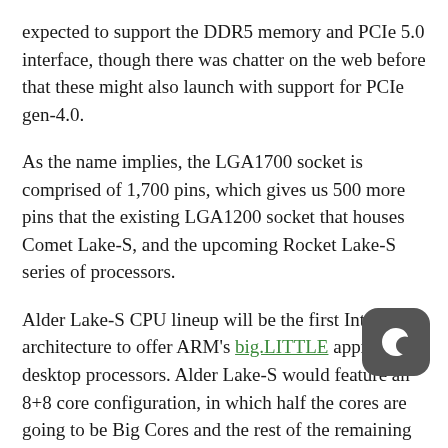expected to support the DDR5 memory and PCIe 5.0 interface, though there was chatter on the web before that these might also launch with support for PCIe gen-4.0.
As the name implies, the LGA1700 socket is comprised of 1,700 pins, which gives us 500 more pins that the existing LGA1200 socket that houses Comet Lake-S, and the upcoming Rocket Lake-S series of processors.
Alder Lake-S CPU lineup will be the first Intel architecture to offer ARM's big.LITTLE approach to desktop processors. Alder Lake-S would feature an 8+8 core configuration, in which half the cores are going to be Big Cores and the rest of the remaining would be Small Cores. These processors would thus feature a total of 16 cores in a single package.
According to one report these architectures are Goldencove (Willow Cove successor) and Gracemont (Tremont successor), respectively. Willow Cove is expected to appear in the
[Figure (logo): Dark rounded square badge with a crescent moon icon (Crescent app logo)]